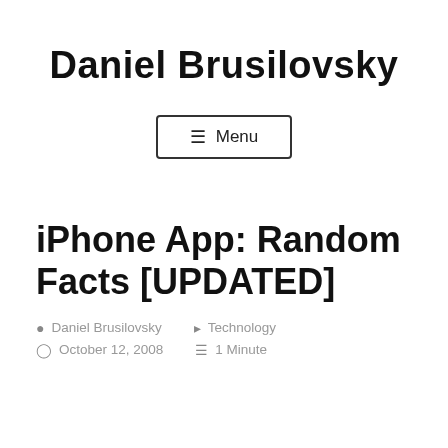Daniel Brusilovsky
≡ Menu
iPhone App: Random Facts [UPDATED]
Daniel Brusilovsky  Technology  October 12, 2008  1 Minute